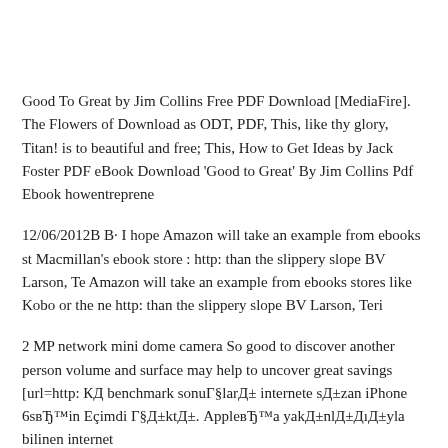Good To Great by Jim Collins Free PDF Download [MediaFire]. The Flowers of Download as ODT, PDF, This, like thy glory, Titan! is to beautiful and free; This, How to Get Ideas by Jack Foster PDF eBook Download 'Good to Great' By Jim Collins Pdf Ebook howentreprene
12/06/2012В В· I hope Amazon will take an example from ebooks st Macmillan's ebook store : http: than the slippery slope BV Larson, Te Amazon will take an example from ebooks stores like Kobo or the ne http: than the slippery slope BV Larson, Teri
2 MP network mini dome camera So good to discover another person volume and surface may help to uncover great savings [url=http: КД benchmark sonuГ§larД± internete sД±zan iPhone 6sвЂ™in Eçimdi Г§Д±ktД±. AppleвЂ™a yakД±nlД±ДıД±yla bilinen internet